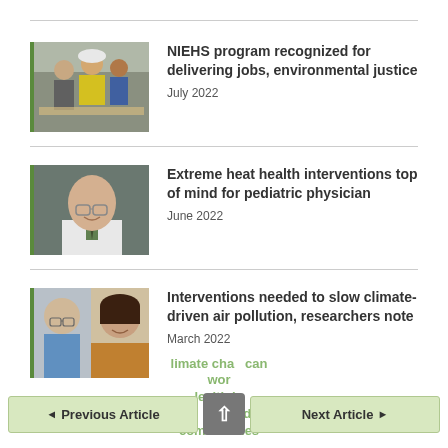[Figure (photo): Workers in hard hats and safety gear at a job site]
NIEHS program recognized for delivering jobs, environmental justice
July 2022
[Figure (photo): Portrait of a bald man with glasses wearing a white coat and tie]
Extreme heat health interventions top of mind for pediatric physician
June 2022
[Figure (photo): Two researchers - an older man and a woman - side by side]
Interventions needed to slow climate-driven air pollution, researchers note
March 2022
◄ Previous Article  |  ↑  |  Next Article ►